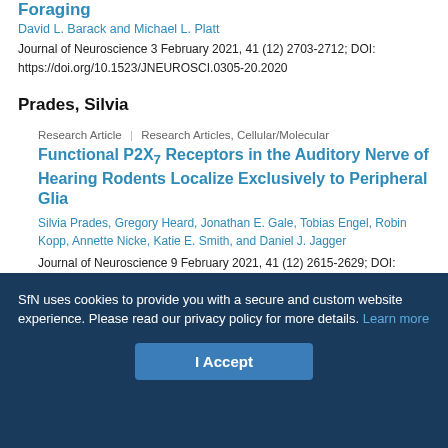Foraging
David L. Barack and Michael L. Platt
Journal of Neuroscience 3 February 2021, 41 (12) 2703-2712; DOI: https://doi.org/10.1523/JNEUROSCI.0305-20.2020
Prades, Silvia
Research Article | Research Articles, Cellular/Molecular
Functional P2X7 Receptors in the Auditory Nerve of Hearing Rodents Localize Exclusively to Peripheral Glia
Silvia Prades, Gregory Heard, Jonathan E. Gale, Tobias Engel, Robin Kopp, Annette Nicke, Katie E. Smith, and Daniel J. Jagger
Journal of Neuroscience 9 February 2021, 41 (12) 2615-2629; DOI: https://doi.org/10.1523/JNEUROSCI.2240-20.2021
SfN uses cookies to provide you with a secure and custom website experience. Please read our privacy policy for more details. Learn more
I Accept